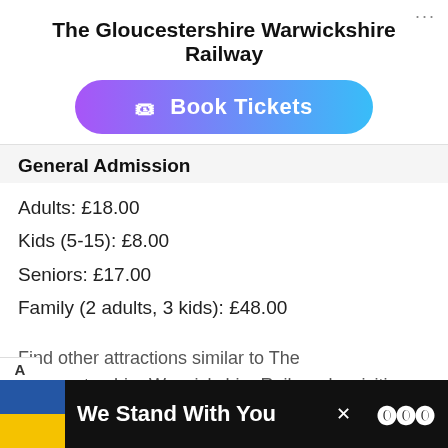The Gloucestershire Warwickshire Railway
[Figure (other): Book Tickets button with gradient purple-to-cyan background and ticket icon]
General Admission
Adults: £18.00
Kids (5-15): £8.00
Seniors: £17.00
Family (2 adults, 3 kids): £48.00
Find other attractions similar to The Gloucestershire Warwickshire Railway by visiting our attraction tickets section.
Location
[Figure (infographic): Advertisement bar at bottom: Ukraine flag graphic with text 'We Stand With You' and close button, on dark background]